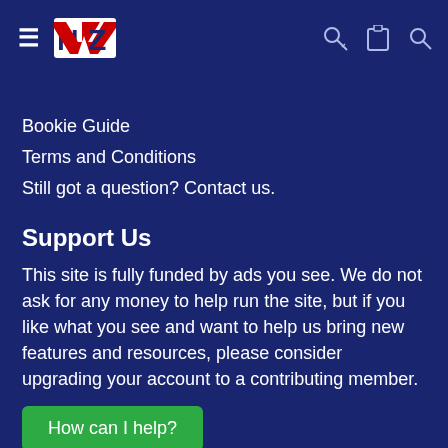NZ site header with hamburger menu, NZ logo, key icon, clipboard icon, search icon
Bookie Guide
Terms and Conditions
Still got a question? Contact us.
Support Us
This site is fully funded by ads you see. We do not ask for any money to help run the site, but if you like what you see and want to help us bring new features and resources, please consider upgrading your account to a contributing member.
How can I help?
[Figure (screenshot): Advertisement banner for CVS Pharmacy in Ashburn, showing OPEN 8AM-12AM, 43930 Farmwell Hunt Plaza, Ashb...]